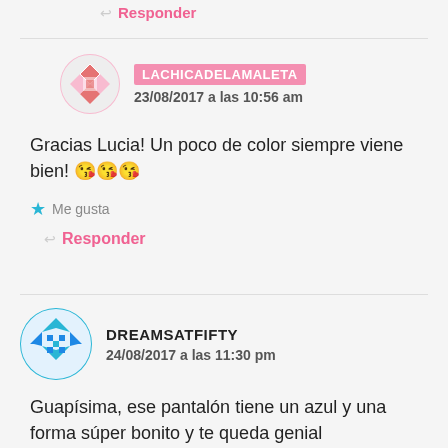↩ Responder
LACHICADELAMALETA
23/08/2017 a las 10:56 am
Gracias Lucia! Un poco de color siempre viene bien! 😘😘😘
★ Me gusta
↩ Responder
DREAMSATFIFTY
24/08/2017 a las 11:30 pm
Guapísima, ese pantalón tiene un azul y una forma súper bonito y te queda genial